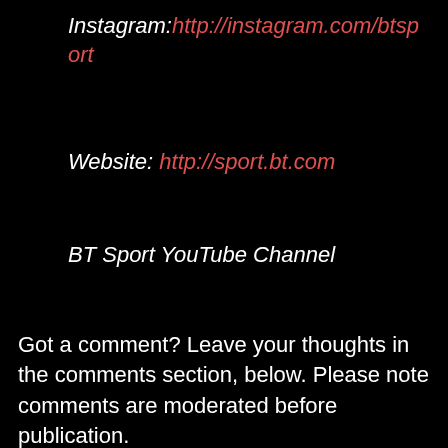Instagram: http://instagram.com/btsport
Website: http://sport.bt.com
BT Sport YouTube Channel
Got a comment? Leave your thoughts in the comments section, below. Please note comments are moderated before publication.